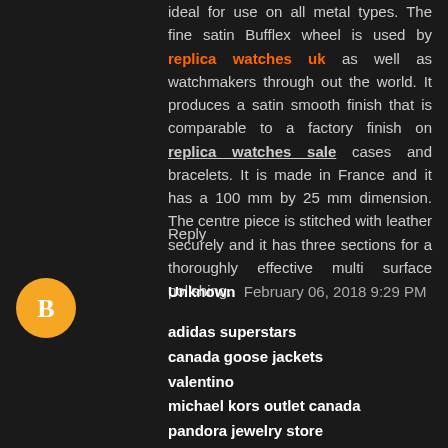ideal for use on all metal types. The fine satin Bufflex wheel is used by replica watches uk as well as watchmakers through out the world. It produces a satin smooth finish that is comparable to a factory finish on replica watches sale cases and bracelets. It is made in France and it has a 100 mm by 25 mm dimension. The centre piece is stitched with leather securely and it has three sections for a thoroughly effective multi surface polishing.
Reply
[Figure (other): Orange circular avatar icon with a white blogger 'B' logo]
Unknown  February 06, 2018 9:29 PM
adidas superstars
canada goose jackets
valentino
michael kors outlet canada
pandora jewelry store
adidas nmd r1
canada goose coats
adidas nmd runner
north face outlet